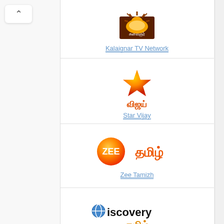[Figure (logo): Kalaignar TV Network logo - sun rising over dark background with Tamil script]
Kalaignar TV Network
[Figure (logo): Star Vijay logo - orange star with Tamil text விஜய்]
Star Vijay
[Figure (logo): Zee Tamil logo - orange circle with ZEE and Tamil script தமிழ்]
Zee Tamizh
[Figure (logo): Discovery Tamil logo - Discovery text with globe icon and Tamil script தமிழ்]
Discovery Tamil